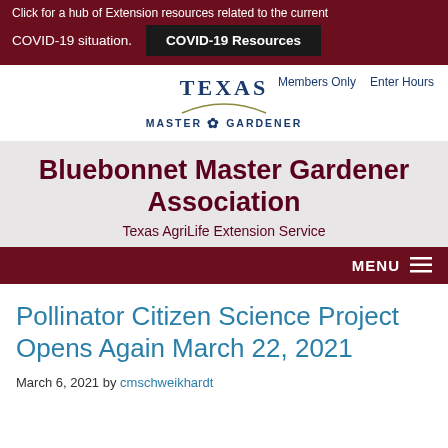Click for a hub of Extension resources related to the current COVID-19 situation. COVID-19 Resources
[Figure (logo): Texas Master Gardener logo with arch design and nav links: Members Only, Enter Hours]
Bluebonnet Master Gardener Association
Texas AgriLife Extension Service
MENU
Pollinator Citizen Science Project Opens Again March 22, 2021
March 6, 2021 by cmschweikhardt